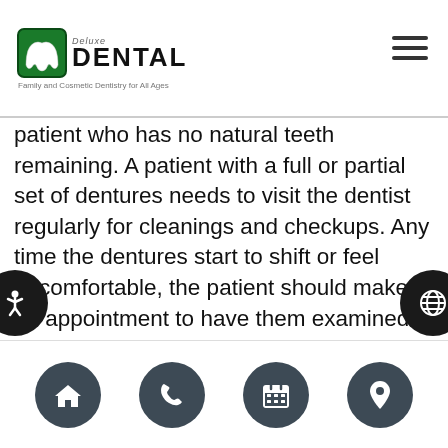Deluxe Dental — Family and Cosmetic Dentistry for All Ages
patient who has no natural teeth remaining. A patient with a full or partial set of dentures needs to visit the dentist regularly for cleanings and checkups. Any time the dentures start to shift or feel uncomfortable, the patient should make an appointment to have them examined and adjusted.

As explained in the Journal of the American Dental Association, due to changes in bone structure following extractions, patients will need their dentures adjusted within weeks of getting immediate dentures and then again several months later. After that, some
Home | Phone | Calendar | Location